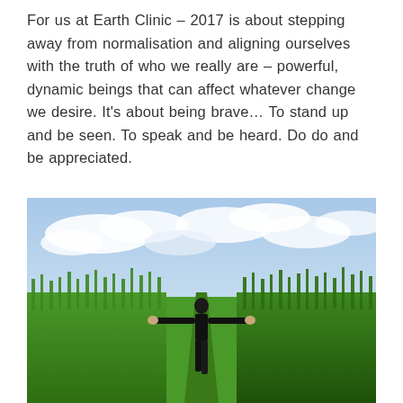For us at Earth Clinic – 2017 is about stepping away from normalisation and aligning ourselves with the truth of who we really are – powerful, dynamic beings that can affect whatever change we desire. It's about being brave… To stand up and be seen. To speak and be heard. Do do and be appreciated.
[Figure (photo): A person standing with arms outstretched in a lush green field of tall grass, viewed from behind, with a partly cloudy blue sky above.]